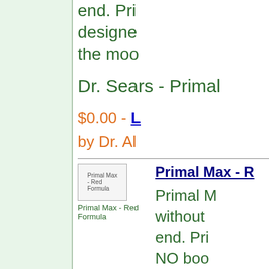end. Pri... designed... the moo...
Dr. Sears - Primal
$0.00 - L... by Dr. Al...
[Figure (photo): Primal Max - Red Formula product image placeholder]
Primal Max - R...
Primal M... without ... end. Pri... NO boo... flo...